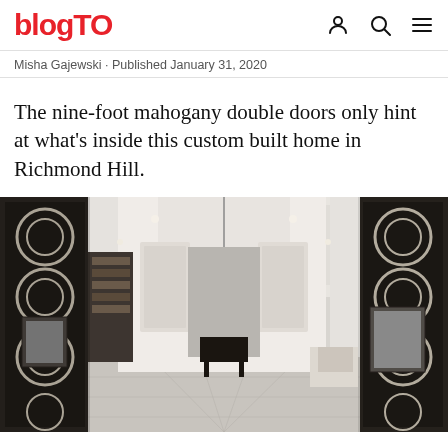blogTO
Misha Gajewski · Published January 31, 2020
The nine-foot mahogany double doors only hint at what's inside this custom built home in Richmond Hill.
[Figure (photo): Interior hallway of a luxury custom-built home in Richmond Hill, featuring ornate coffered ceiling with circular motifs, a crystal chandelier, decorative screen panels on the sides, marble-look flooring, and a view down a long white hallway.]